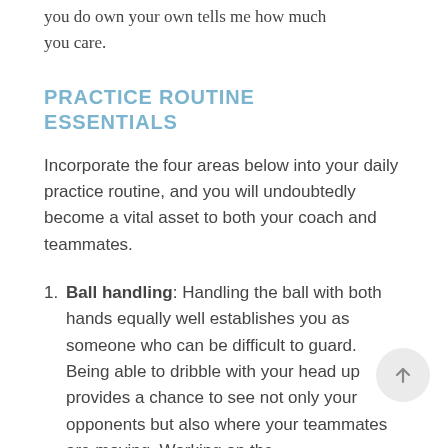you do own your own tells me how much you care.
PRACTICE ROUTINE ESSENTIALS
Incorporate the four areas below into your daily practice routine, and you will undoubtedly become a vital asset to both your coach and teammates.
Ball handling: Handling the ball with both hands equally well establishes you as someone who can be difficult to guard. Being able to dribble with your head up provides a chance to see not only your opponents but also where your teammates are moving. Working on the